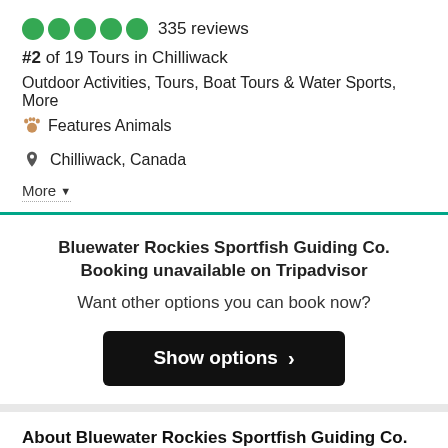335 reviews
#2 of 19 Tours in Chilliwack
Outdoor Activities, Tours, Boat Tours & Water Sports, More
🐾 Features Animals
📍 Chilliwack, Canada
More ▼
Bluewater Rockies Sportfish Guiding Co. Booking unavailable on Tripadvisor
Want other options you can book now?
Show options ›
About Bluewater Rockies Sportfish Guiding Co.
An industry leader for over 20 years, our compa... Read more